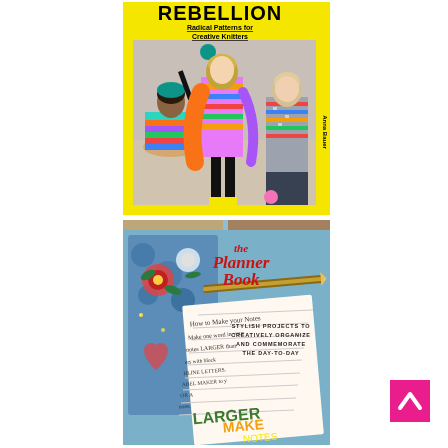[Figure (photo): Book cover: 'Rebellion: Radical Patterns for Creative Knitters' by Anna Bauer. Yellow border with three women wearing colorful knitted sweaters, one lying on the floor.]
[Figure (photo): Book cover: 'The Planner Book: Stylish Projects to Creatively Organize and Commemorate the Day-to-Day'. Shows a decorative planner with floral cover and handwritten notes pages. Red stylized script title.]